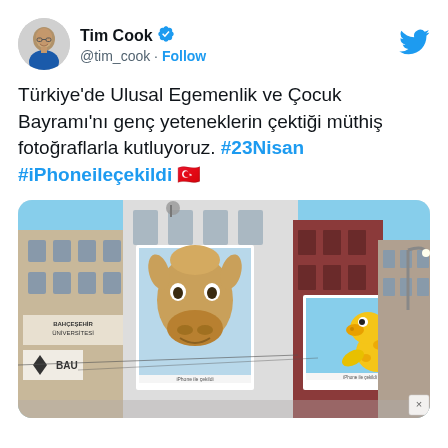Tim Cook @tim_cook · Follow
Türkiye'de Ulusal Egemenlik ve Çocuk Bayramı'nı genç yeteneklerin çektiği müthiş fotoğraflarla kutluyoruz. #23Nisan #iPhoneileçekildi 🇹🇷
[Figure (photo): Street photo showing two large billboard advertisements on urban buildings in Turkey. Left billboard shows a close-up photo of a camel/donkey face against a blue sky. Right billboard shows a yellow rubber duck/giraffe toy against blue sky. Buildings include a sign reading 'BAHÇEŞEHİR ÜNİVERSİTESİ' and 'BAU'. Both billboards have small text reading 'iPhone ile çekildi'.]